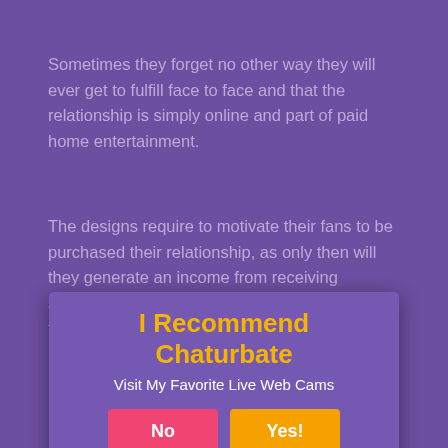Sometimes they forget no other way they will ever get to fulfill face to face and that the relationship is simply online and part of paid home entertainment.
The designs require to motivate their fans to be purchased their relationship, as only then will they generate an income from receiving suggestions and... very same time guarantee the... if friendly and intimate, level.
[Figure (infographic): Popup overlay with title 'I Recommend Chaturbate', subtitle 'Visit My Favorite Live Web Cams', and two buttons: 'No' (pink) and 'Yes!' (orange)]
It prevails for viewers to enter the space of a camera lady and immediately ask if she is or has a partner married, and ask where she lives. How Much Is 243 Tokens In Chaturbate
This is a clear sign that the viewer has actually mistaken Chaturbate for a dating or mail-order-bride site, and while it may hold true that real-life relationships often start online, this is not the